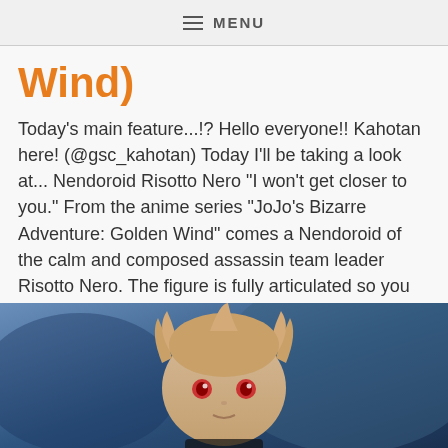≡ MENU
Wind)
Today's main feature...!? Hello everyone!! Kahotan here! (@gsc_kahotan) Today I'll be taking a look at... Nendoroid Risotto Nero "I won't get closer to you." From the anime series "JoJo's Bizarre Adventure: Golden Wind" comes a Nendoroid of the calm and composed assassin team leader Risotto Nero. The figure is fully articulated so you can display...
May 1, 2020  /  Good Smile Company, Nendoroid  /  By Kahotan
[Figure (photo): Close-up photo of a Nendoroid figure (Risotto Nero) with spiky hair, shown against a blue background]